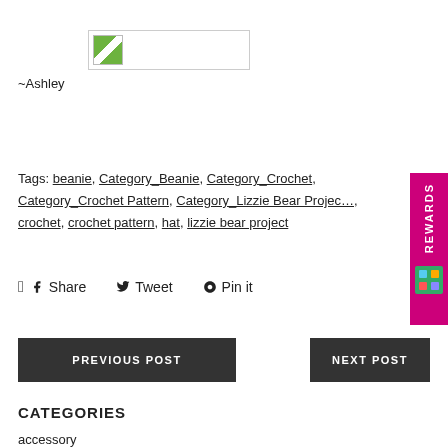[Figure (photo): Small image placeholder with green and white graphic]
~Ashley
Tags: beanie, Category_Beanie, Category_Crochet, Category_Crochet Pattern, Category_Lizzie Bear Project, crochet, crochet pattern, hat, lizzie bear project
Share  Tweet  Pin it
PREVIOUS POST
NEXT POST
CATEGORIES
accessory